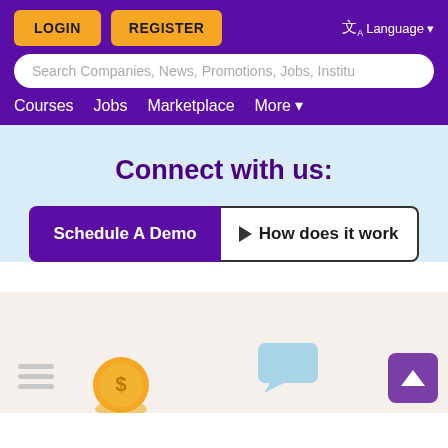LOGIN | REGISTER | Language
Search Companies, News, Promotions, Jobs, Institu
Courses   Jobs   Marketplace   More
Connect with us:
Schedule A Demo
▶ How does it work
[Figure (illustration): Bottom section with scroll-to-top button, list icon, coin icon, and speech bubble icon]